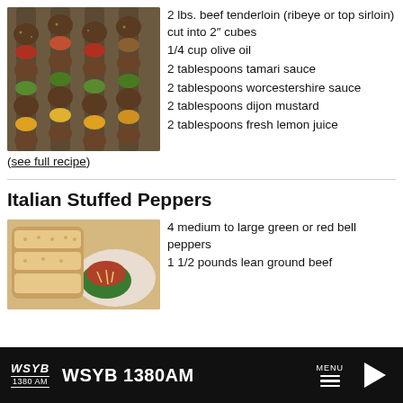[Figure (photo): Top-down photo of beef and vegetable skewers/kabobs on a tray]
2 lbs. beef tenderloin (ribeye or top sirloin) cut into 2" cubes
1/4 cup olive oil
2 tablespoons tamari sauce
2 tablespoons worcestershire sauce
2 tablespoons dijon mustard
2 tablespoons fresh lemon juice
(see full recipe)
Italian Stuffed Peppers
[Figure (photo): Photo of stuffed green peppers with cheese and bread on a plate]
4 medium to large green or red bell peppers
1 1/2 pounds lean ground beef
WSYB 1380AM  MENU